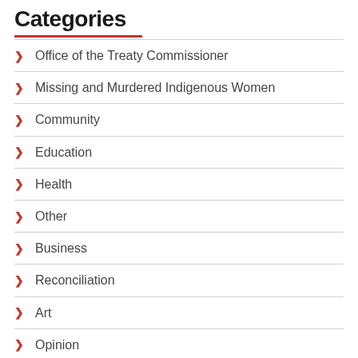Categories
Office of the Treaty Commissioner
Missing and Murdered Indigenous Women
Community
Education
Health
Other
Business
Reconciliation
Art
Opinion